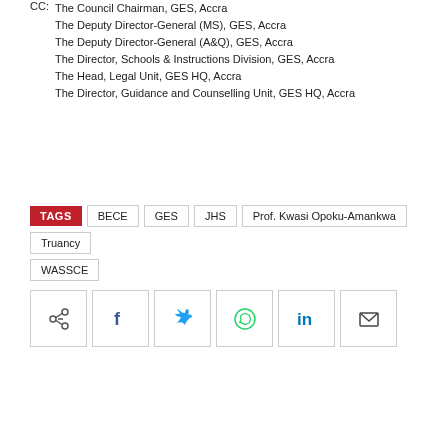CC:
The Council Chairman, GES, Accra
The Deputy Director-General (MS), GES, Accra
The Deputy Director-General (A&Q), GES, Accra
The Director, Schools & Instructions Division, GES, Accra
The Head, Legal Unit, GES HQ, Accra
The Director, Guidance and Counselling Unit, GES HQ, Accra
TAGS   BECE   GES   JHS   Prof. Kwasi Opoku-Amankwa   Truancy   WASSCE
[Figure (other): Social share buttons: share, Facebook, Twitter, WhatsApp, LinkedIn, Email]